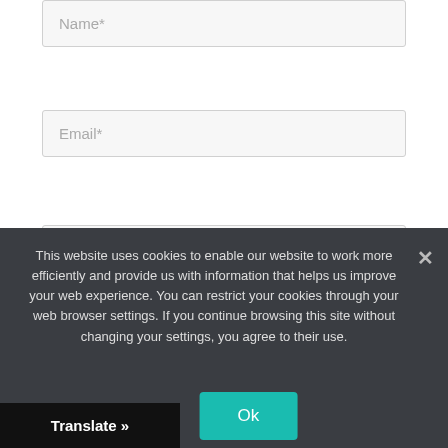[Figure (screenshot): Form input field with placeholder text 'Name*']
[Figure (screenshot): Form input field with placeholder text 'Email*']
[Figure (screenshot): Form input field with placeholder text 'Website']
Save my name, email, and website in this browser for the next time I comment.
This website uses cookies to enable our website to work more efficiently and provide us with information that helps us improve your web experience. You can restrict your cookies through your web browser settings. If you continue browsing this site without changing your settings, you agree to their use.
Ok
Translate »